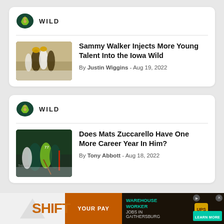[Figure (screenshot): Minnesota Wild team logo - green leaf shape with bear/animal symbol]
WILD
[Figure (photo): Hockey players on ice, college/minor league game, players in dark and white jerseys]
Sammy Walker Injects More Young Talent Into the Iowa Wild
By Justin Wiggins - Aug 19, 2022
[Figure (logo): Minnesota Wild team logo second instance]
WILD
[Figure (photo): Hockey players on ice, Minnesota Wild players in green jerseys vs Vancouver Canucks]
Does Mats Zuccarello Have One More Career Year In Him?
By Tony Abbott - Aug 18, 2022
[Figure (screenshot): Advertisement banner: SHIFT YOUR PAY - Warehouse Worker Jobs in Gaithersburg - UPS - LEARN MORE]